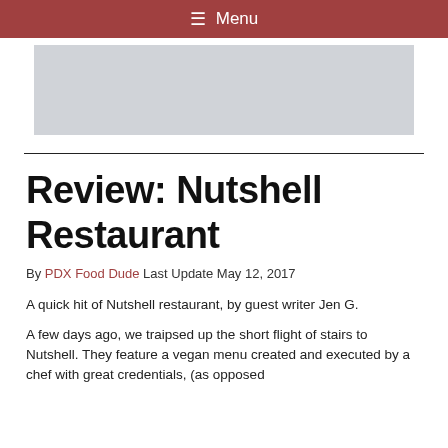≡ Menu
[Figure (other): Gray placeholder advertisement image]
Review: Nutshell Restaurant
By PDX Food Dude Last Update May 12, 2017
A quick hit of Nutshell restaurant, by guest writer Jen G.
A few days ago, we traipsed up the short flight of stairs to Nutshell. They feature a vegan menu created and executed by a chef with great credentials, (as opposed